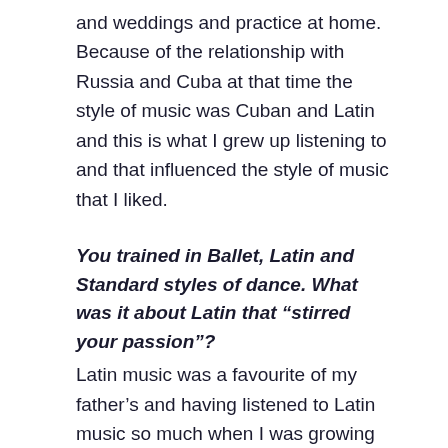and weddings and practice at home. Because of the relationship with Russia and Cuba at that time the style of music was Cuban and Latin and this is what I grew up listening to and that influenced the style of music that I liked.
You trained in Ballet, Latin and Standard styles of dance. What was it about Latin that “stirred your passion”?
Latin music was a favourite of my father’s and having listened to Latin music so much when I was growing up it has always been close to my heart. It is so vibrant and always makes me feel so happy.
As a child and into your teens you took part in many dance competitions. Can you tell us